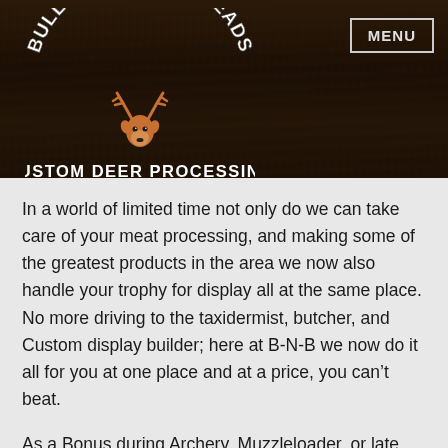[Figure (logo): Bullets-N-Broadheads Custom Deer Processing logo on dark wood background with deer head illustration and arched text]
In a world of limited time not only do we can take care of your meat processing, and making some of the greatest products in the area we now also handle your trophy for display all at the same place. No more driving to the taxidermist, butcher, and Custom display builder; here at B-N-B we now do it all for you at one place and at a price, you can’t beat.
As a Bonus during Archery, Muzzleloader, or late season flintlock if you harvest a deer and would like a